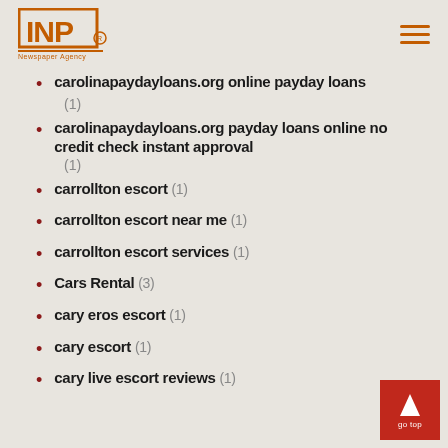INP logo with hamburger menu
carolinapaydayloans.org online payday loans (1)
carolinapaydayloans.org payday loans online no credit check instant approval (1)
carrollton escort (1)
carrollton escort near me (1)
carrollton escort services (1)
Cars Rental (3)
cary eros escort (1)
cary escort (1)
cary live escort reviews (1)